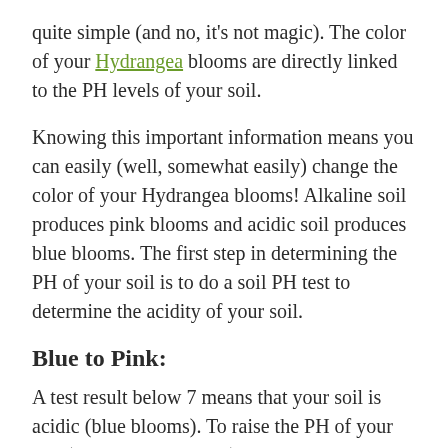quite simple (and no, it's not magic). The color of your Hydrangea blooms are directly linked to the PH levels of your soil.
Knowing this important information means you can easily (well, somewhat easily) change the color of your Hydrangea blooms! Alkaline soil produces pink blooms and acidic soil produces blue blooms. The first step in determining the PH of your soil is to do a soil PH test to determine the acidity of your soil.
Blue to Pink:
A test result below 7 means that your soil is acidic (blue blooms). To raise the PH of your soil (to turn blooms pink), try adding limestone – most packages will tell you how much to add to increase your PH to the correct levels.You can also try using a fertilizer with high levels of phosphorus in it. This helps keep the aluminum in your soil from entering the root